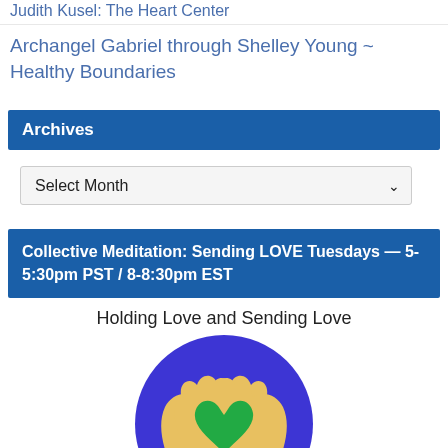Judith Kusel: The Heart Center
Archangel Gabriel through Shelley Young ~ Healthy Boundaries
Archives
Select Month
Collective Meditation: Sending LOVE Tuesdays — 5-5:30pm PST / 8-8:30pm EST
Holding Love and Sending Love
[Figure (illustration): Circular blue background with two golden/yellow hands forming a heart shape, with a green heart in the center.]